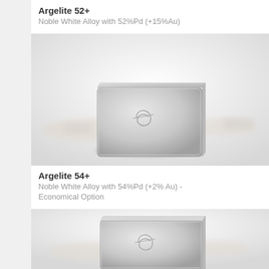Argelite 52+
Noble White Alloy with 52%Pd (+15%Au)
[Figure (photo): A silver-colored metallic ingot/block with a scripted logo mark on its face, photographed on a light background with soft bokeh.]
Argelite 54+
Noble White Alloy with 54%Pd (+2% Au) - Economical Option
[Figure (photo): A silver-colored metallic ingot/block similar to above, partially visible, photographed on a light background.]